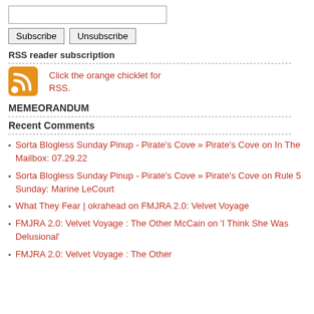[input field]
Subscribe  Unsubscribe
RSS reader subscription
[Figure (logo): Orange RSS feed chicklet icon]
Click the orange chicklet for RSS.
MEMEORANDUM
Recent Comments
Sorta Blogless Sunday Pinup - Pirate's Cove » Pirate's Cove on In The Mailbox: 07.29.22
Sorta Blogless Sunday Pinup - Pirate's Cove » Pirate's Cove on Rule 5 Sunday: Marine LeCourt
What They Fear | okrahead on FMJRA 2.0: Velvet Voyage
FMJRA 2.0: Velvet Voyage : The Other McCain on 'I Think She Was Delusional'
FMJRA 2.0: Velvet Voyage : The Other